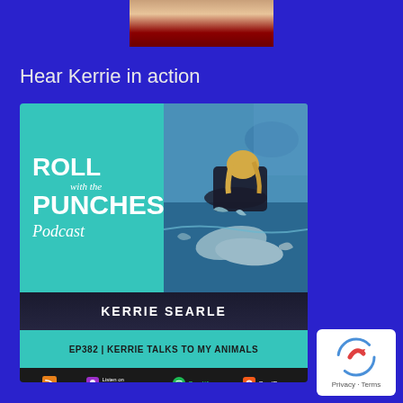[Figure (photo): Cropped photo of a person at the top of the page, only lower portion visible]
Hear Kerrie in action
[Figure (other): Roll with the Punches Podcast cover art for EP382 - Kerrie Talks to My Animals, featuring Kerrie Searle with dolphins, available on Apple Podcasts, Spotify, and CastBox]
[Figure (other): reCAPTCHA Privacy - Terms badge in bottom right corner]